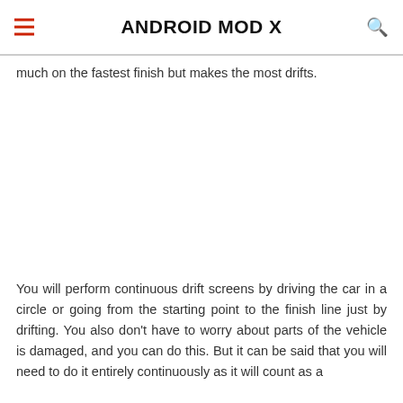ANDROID MOD X
much on the fastest finish but makes the most drifts.
You will perform continuous drift screens by driving the car in a circle or going from the starting point to the finish line just by drifting. You also don’t have to worry about parts of the vehicle is damaged, and you can do this. But it can be said that you will need to do it entirely continuously as it will count as a